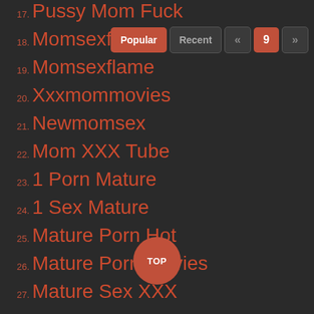17. Pussy Mom Fuck
18. Momsexfilms
19. Momsexflame
20. Xxxmommovies
21. Newmomsex
22. Mom XXX Tube
23. 1 Porn Mature
24. 1 Sex Mature
25. Mature Porn Hot
26. Mature Porn Movies
27. Mature Sex XXX